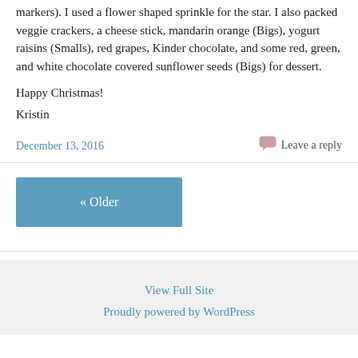markers). I used a flower shaped sprinkle for the star. I also packed veggie crackers, a cheese stick, mandarin orange (Bigs), yogurt raisins (Smalls), red grapes, Kinder chocolate, and some red, green, and white chocolate covered sunflower seeds (Bigs) for dessert.
Happy Christmas!
Kristin
December 13, 2016
Leave a reply
« Older
View Full Site
Proudly powered by WordPress